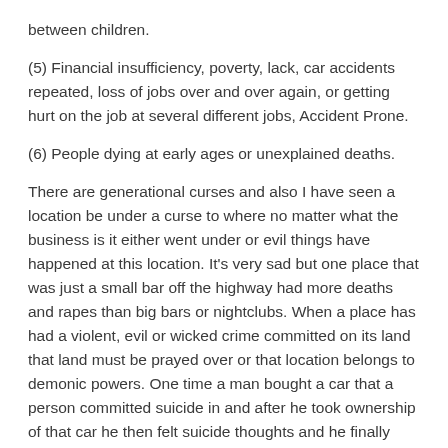between children.
(5) Financial insufficiency, poverty, lack, car accidents repeated, loss of jobs over and over again, or getting hurt on the job at several different jobs, Accident Prone.
(6) People dying at early ages or unexplained deaths.
There are generational curses and also I have seen a location be under a curse to where no matter what the business is it either went under or evil things have happened at this location. It's very sad but one place that was just a small bar off the highway had more deaths and rapes than big bars or nightclubs. When a place has had a violent, evil or wicked crime committed on its land that land must be prayed over or that location belongs to demonic powers. One time a man bought a car that a person committed suicide in and after he took ownership of that car he then felt suicide thoughts and he finally came to a point he got rid of the car, then all the thoughts of Suicide left him.
We need to realize we live in a nonstop spiritual war. Now here are